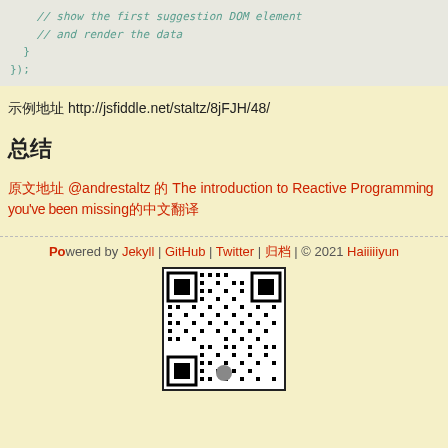// show the first suggestion DOM element
    // and render the data
  }
});
示例地址 http://jsfiddle.net/staltz/8jFJH/48/
总结
原文地址 @andrestaltz 的 The introduction to Reactive Programming you've been missing的中文翻译
Powered by Jekyll | GitHub | Twitter | 归档 | © 2021 Haiiiiiyun